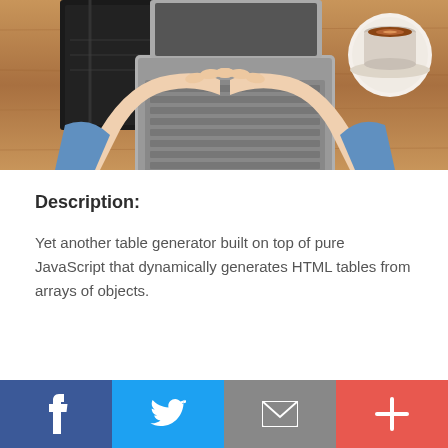[Figure (photo): Overhead/top-down view of a person typing on a laptop on a wooden desk, with a cup of coffee and a notebook visible. Person wearing a blue denim shirt.]
Description:
Yet another table generator built on top of pure JavaScript that dynamically generates HTML tables from arrays of objects.